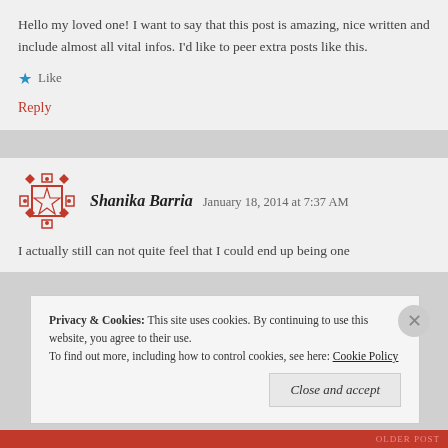Hello my loved one! I want to say that this post is amazing, nice written and include almost all vital infos. I'd like to peer extra posts like this.
★ Like
Reply
Shanika Barria   January 18, 2014 at 7:37 AM
I actually still can not quite feel that I could end up being one
Privacy & Cookies: This site uses cookies. By continuing to use this website, you agree to their use. To find out more, including how to control cookies, see here: Cookie Policy
Close and accept